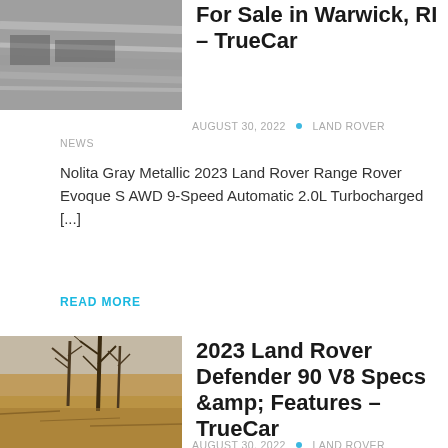[Figure (photo): Blurry black and white motion photo, appears to be a vehicle in motion]
For Sale in Warwick, RI – TrueCar
AUGUST 30, 2022 • LAND ROVER NEWS
Nolita Gray Metallic 2023 Land Rover Range Rover Evoque S AWD 9-Speed Automatic 2.0L Turbocharged [...]
READ MORE
[Figure (photo): Photo of bare winter trees with dry brown brush, outdoor nature scene]
2023 Land Rover Defender 90 V8 Specs &amp; Features – TrueCar
AUGUST 30, 2022 • LAND ROVER NEWS